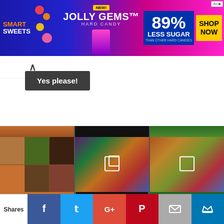[Figure (photo): Smart Sweets Jolly Gems Hard Candy advertisement banner — 89% Less Sugar than other hard candies, with Shop Now button]
[Figure (photo): Small up-chevron navigation icon in white box]
[Figure (photo): Dark grey 'Yes please!' button]
[Figure (photo): Three-column food photo grid: left collage of tapas/Mediterranean dishes, middle colorful vegetable platter video thumbnail, right colorful vegetable/snack board thumbnail]
Privacy & Cookies: This site uses cookies. By continuing to use this website, you agree to their use.
To find out more, including how to control cookies, see here: Cookie Policy
Shares
[Figure (screenshot): Social share bar: Facebook, Twitter, Google+, Pinterest, Email, Crown/sumo buttons]